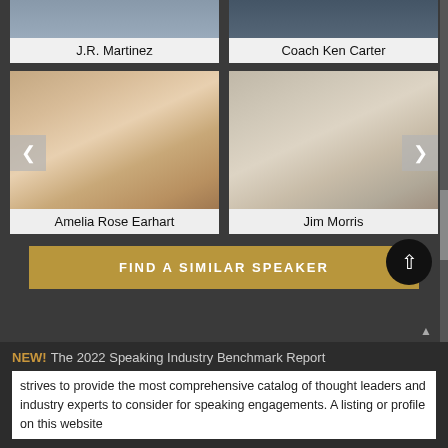[Figure (photo): Speaker card: J.R. Martinez - partial photo visible at top with name label]
[Figure (photo): Speaker card: Coach Ken Carter - partial photo visible at top with name label]
[Figure (photo): Speaker card: Amelia Rose Earhart - full portrait photo with name label]
[Figure (photo): Speaker card: Jim Morris - full portrait photo with name label]
FIND A SIMILAR SPEAKER
NEW! The 2022 Speaking Industry Benchmark Report
strives to provide the most comprehensive catalog of thought leaders and industry experts to consider for speaking engagements. A listing or profile on this website